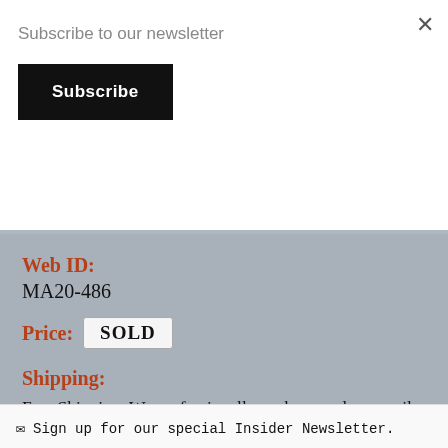Subscribe to our newsletter
Subscribe
Web ID:
MA20-486
Price:
SOLD
Shipping:
Free Shipping. We professionally package and can easily, safely ship any item, fully insured, within the US.
✉ Sign up for our special Insider Newsletter.